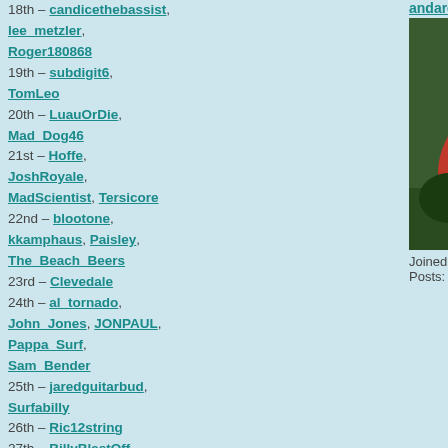18th – candicethebassist, lee_metzler, Roger180868
19th – subdigit6, TomLeo
20th – LuauOrDie, Mad_Dog46
21st – Hoffe, JoshRoyale, MadScientist, Tersicore
22nd – blootone, kkamphaus, Paisley, The_Beach_Beers
23rd – Clevedale
24th – al_tornado, John_Jones, JONPAUL, Pappa_Surf, Sam_Bender
25th – jaredguitarbud, Surfabilly
26th – Ric12string
27th – BillyBlastOff, vinylrec
28th – Jimabr, lehersh, muttomatic, nosprings
[Figure (photo): Close-up photo of a rooster's head with red comb, yellow beak, and dark eye]
Joined: Jul 11, 2018
Posts: 61
andare
Posted on Mar 09 2021
j_flanders wrote:
Do you want an on/o...
With a bypass switch... Best to use a 3PDT...
With an on/off switch... Best to use a SP2T...
It usually only conne...
There's very little ch... turn the unit on.
There's a big chance... some other ground w...
Alright now everything is...
Funnily enough I know b... see a simple on/off swit...
I'll probably go with the...